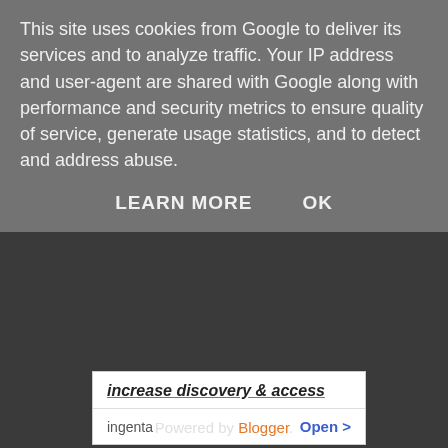This site uses cookies from Google to deliver its services and to analyze traffic. Your IP address and user-agent are shared with Google along with performance and security metrics to ensure quality of service, generate usage statistics, and to detect and address abuse.
LEARN MORE    OK
[Figure (screenshot): Ingenta ad banner showing 'increase discovery & access' link with 'ingenta' name and 'Open >' button]
[Figure (photo): Profile photo of Colin Farr, a man wearing sunglasses outdoors]
Colin Farr
London, United Kingdom
I'm an ASP.NET/C# and SQL architect living and working in London, England. I have a BSc in computer science and am a Microsoft Certified Professional Developer (MCPD).
View my complete profile
Powered by Blogger.